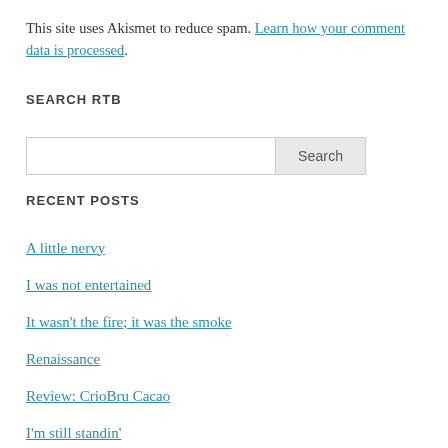This site uses Akismet to reduce spam. Learn how your comment data is processed.
SEARCH RTB
[Search input box and Search button]
RECENT POSTS
A little nervy
I was not entertained
It wasn't the fire; it was the smoke
Renaissance
Review: CrioBru Cacao
I'm still standin'
On being an apology apologist
162 Days